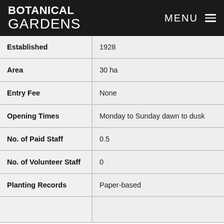BOTANICAL GARDENS   MENU
| Field | Value |
| --- | --- |
| Established | 1928 |
| Area | 30 ha |
| Entry Fee | None |
| Opening Times | Monday to Sunday dawn to dusk |
| No. of Paid Staff | 0.5 |
| No. of Volunteer Staff | 0 |
| Planting Records | Paper-based |